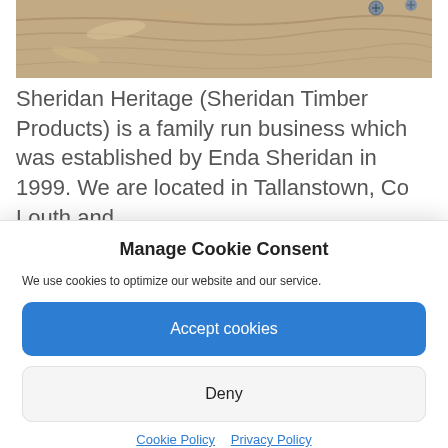[Figure (photo): Partial photo of wood/timber material with screws or hardware visible at the top edge of the page]
Sheridan Heritage (Sheridan Timber Products) is a family run business which was established by Enda Sheridan in 1999. We are located in Tallanstown, Co Louth and
Manage Cookie Consent
We use cookies to optimize our website and our service.
Accept cookies
Deny
Cookie Policy   Privacy Policy